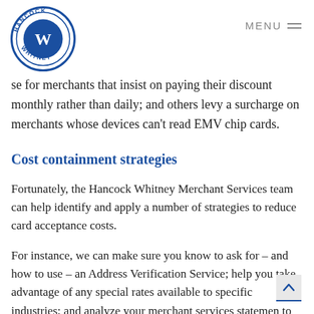[Figure (logo): Hancock Whitney circular logo with 'W' monogram and text 'HANCOCK WHITNEY' around the border in blue]
MENU
se for merchants that insist on paying their discount monthly rather than daily; and others levy a surcharge on merchants whose devices can't read EMV chip cards.
Cost containment strategies
Fortunately, the Hancock Whitney Merchant Services team can help identify and apply a number of strategies to reduce card acceptance costs.
For instance, we can make sure you know to ask for – and how to use – an Address Verification Service; help you take advantage of any special rates available to specific industries; and analyze your merchant services statement to identify risk-based and other “junk” fees.